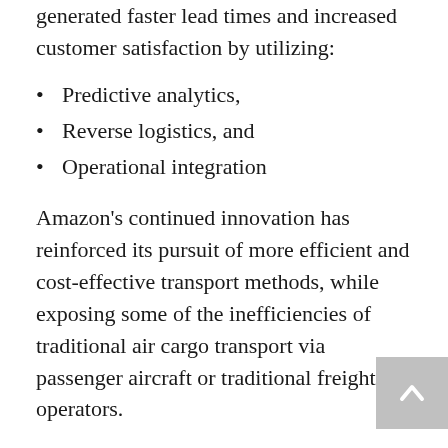generated faster lead times and increased customer satisfaction by utilizing:
Predictive analytics,
Reverse logistics, and
Operational integration
Amazon's continued innovation has reinforced its pursuit of more efficient and cost-effective transport methods, while exposing some of the inefficiencies of traditional air cargo transport via passenger aircraft or traditional freight operators.
Amazon's expansion has been in the works since 2015, when they first began leasing Boeing 767's and acquired a minority stake in lessors ATSG…